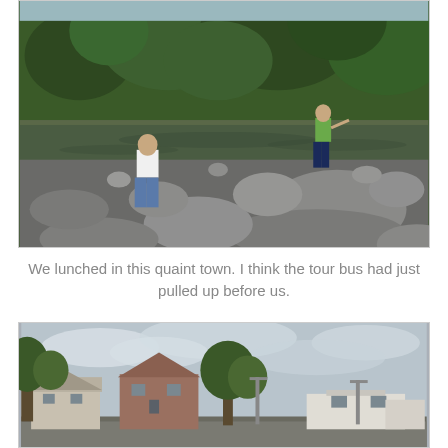[Figure (photo): Two people standing on rocky riverbed with dark water and boulders, dense green trees in background]
We lunched in this quaint town. I think the tour bus had just pulled up before us.
[Figure (photo): Street view of a quaint Scottish/British town with stone buildings, trees, and lamp posts under a cloudy sky]